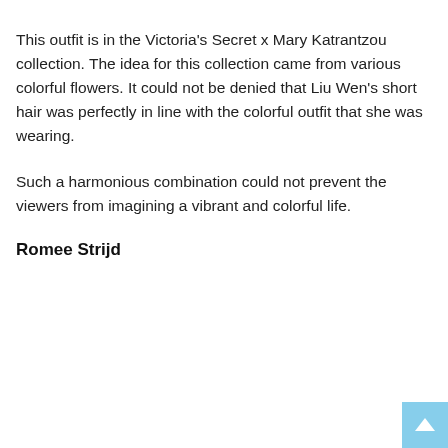This outfit is in the Victoria's Secret x Mary Katrantzou collection. The idea for this collection came from various colorful flowers. It could not be denied that Liu Wen's short hair was perfectly in line with the colorful outfit that she was wearing.
Such a harmonious combination could not prevent the viewers from imagining a vibrant and colorful life.
Romee Strijd